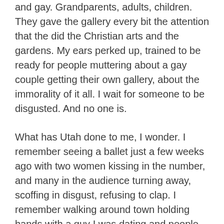and gay. Grandparents, adults, children. They gave the gallery every bit the attention that the did the Christian arts and the gardens. My ears perked up, trained to be ready for people muttering about a gay couple getting their own gallery, about the immorality of it all. I wait for someone to be disgusted. And no one is.
What has Utah done to me, I wonder. I remember seeing a ballet just a few weeks ago with two women kissing in the number, and many in the audience turning away, scoffing in disgust, refusing to clap. I remember walking around town holding hands with a guy I was dating and people averting their eyes or giving looks of shock and disgust.
And then I stand here in this spot, in between the arts of Christianity and still photographs. Both galleries